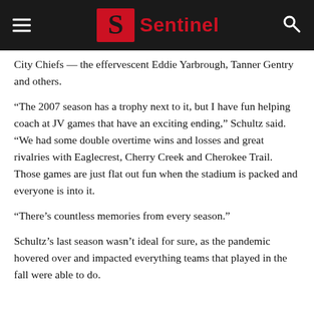Sentinel
City Chiefs — the effervescent Eddie Yarbrough, Tanner Gentry and others.
“The 2007 season has a trophy next to it, but I have fun helping coach at JV games that have an exciting ending,” Schultz said. “We had some double overtime wins and losses and great rivalries with Eaglecrest, Cherry Creek and Cherokee Trail. Those games are just flat out fun when the stadium is packed and everyone is into it.
“There’s countless memories from every season.”
Schultz’s last season wasn’t ideal for sure, as the pandemic hovered over and impacted everything teams that played in the fall were able to do.